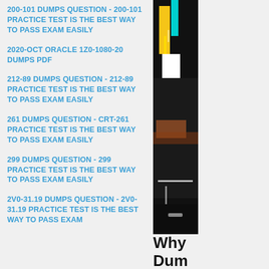200-101 DUMPS QUESTION - 200-101 PRACTICE TEST IS THE BEST WAY TO PASS EXAM EASILY
2020-OCT ORACLE 1Z0-1080-20 DUMPS PDF
212-89 DUMPS QUESTION - 212-89 PRACTICE TEST IS THE BEST WAY TO PASS EXAM EASILY
261 DUMPS QUESTION - CRT-261 PRACTICE TEST IS THE BEST WAY TO PASS EXAM EASILY
299 DUMPS QUESTION - 299 PRACTICE TEST IS THE BEST WAY TO PASS EXAM EASILY
2V0-31.19 DUMPS QUESTION - 2V0-31.19 PRACTICE TEST IS THE BEST WAY TO PASS EXAM
[Figure (photo): Vertical smartphone or device image with colorful abstract display, shown in portrait orientation]
Why Dum HPE6-A66 mate is